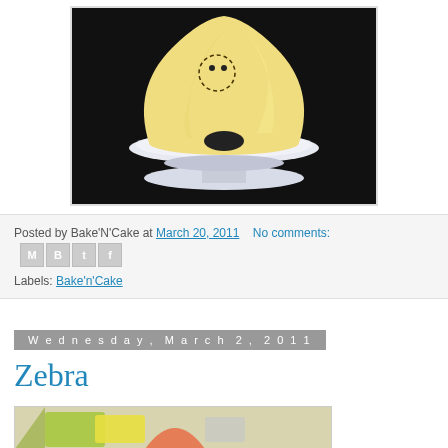[Figure (photo): Photo of a yellow fondant cake shaped like a beehive on a white cake stand, against a dark background. The cake has a small circular dashed detail and a dark entrance hole at the base.]
Posted by Bake'N'Cake at March 20, 2011   No comments:
Labels: Bake'n'Cake
Wednesday, March 2, 2011
Zebra
[Figure (photo): Partial view of a colorful cake or dessert with green, yellow and pink decorations on a light background.]